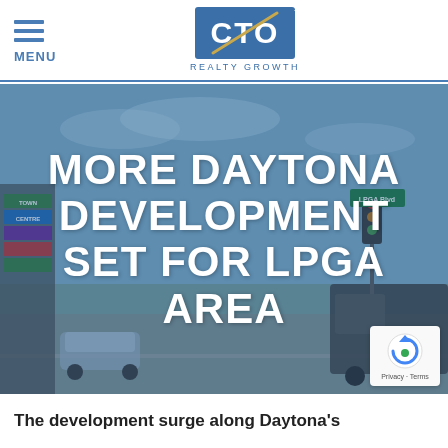MENU | CTO REALTY GROWTH
[Figure (photo): Street-level photo of a shopping center with signage (Town Centre) along a multi-lane road with traffic lights and vehicles, overlaid with a blue tint. Text overlay reads: MORE DAYTONA DEVELOPMENT SET FOR LPGA AREA]
MORE DAYTONA DEVELOPMENT SET FOR LPGA AREA
The development surge along Daytona's